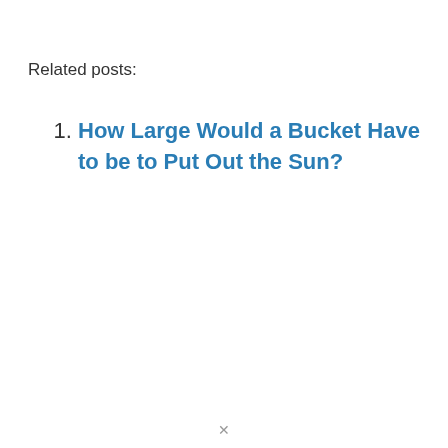Related posts:
1. How Large Would a Bucket Have to be to Put Out the Sun?